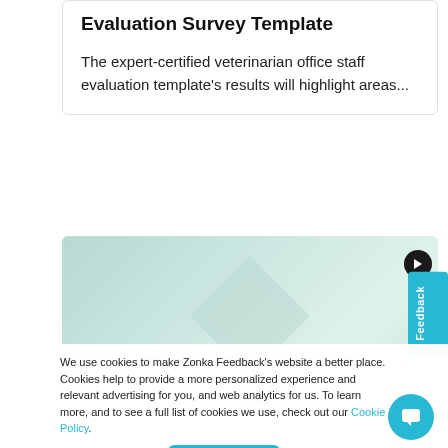Evaluation Survey Template
The expert-certified veterinarian office staff evaluation template's results will highlight areas...
[Figure (screenshot): Survey preview card with light teal/green gradient background, a diamond geometric shape, navigation arrow button, question text 'Was this your first time at our event?' and an answer box with 'Yes']
We use cookies to make Zonka Feedback's website a better place. Cookies help to provide a more personalized experience and relevant advertising for you, and web analytics for us. To learn more, and to see a full list of cookies we use, check out our Cookie Policy.
Accept